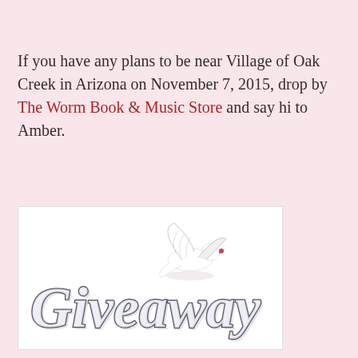If you have any plans to be near Village of Oak Creek in Arizona on November 7, 2015, drop by The Worm Book & Music Store and say hi to Amber.
[Figure (illustration): A decorative giveaway graphic showing the word 'Giveaway' in ornate cursive script with a white dove flying above it, on a white background.]